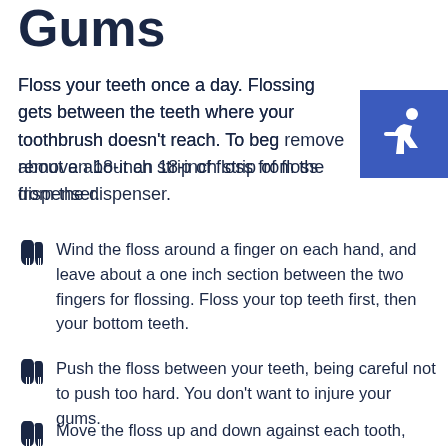Gums
Floss your teeth once a day. Flossing gets between the teeth where your toothbrush doesn't reach. To begin, remove about an 18-inch strip of floss from the dispenser.
[Figure (illustration): Accessibility icon (wheelchair symbol) on a blue square background]
Wind the floss around a finger on each hand, and leave about a one inch section between the two fingers for flossing. Floss your top teeth first, then your bottom teeth.
Push the floss between your teeth, being careful not to push too hard. You don't want to injure your gums.
Move the floss up and down against each tooth, along both sides of the space between each tooth. Again being careful not to push too hard, but also